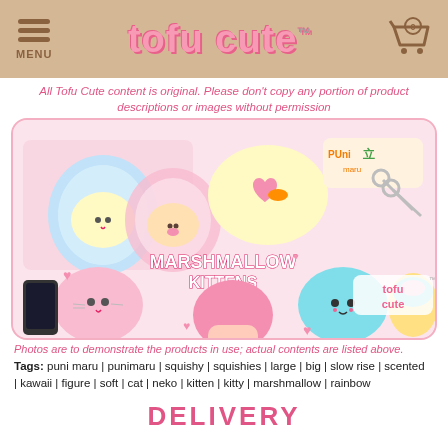tofu cute™ — MENU / cart 0
All Tofu Cute content is original. Please don't copy any portion of product descriptions or images without permission
[Figure (photo): Product photo showing Puni Maru Marshmallow Kittens squishies in packaging and being held, with Puni Maru and Tofu Cute logos visible]
Photos are to demonstrate the products in use; actual contents are listed above.
Tags: puni maru | punimaru | squishy | squishies | large | big | slow rise | scented | kawaii | figure | soft | cat | neko | kitten | kitty | marshmallow | rainbow
DELIVERY